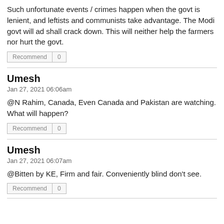Such unfortunate events / crimes happen when the govt is lenient, and leftists and communists take advantage. The Modi govt will ad shall crack down. This will neither help the farmers nor hurt the govt.
Recommend 0
Umesh
Jan 27, 2021 06:06am
@N Rahim, Canada, Even Canada and Pakistan are watching. What will happen?
Recommend 0
Umesh
Jan 27, 2021 06:07am
@Bitten by KE, Firm and fair. Conveniently blind don't see.
Recommend 0